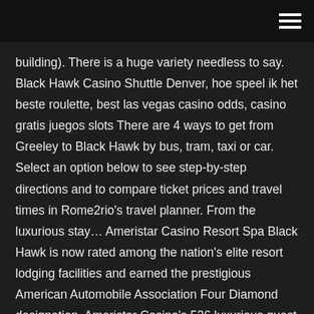building). There is a huge variety needless to say. Black Hawk Casino Shuttle Denver, hoe speel ik het beste roulette, best las vegas casino odds, casino gratis juegos slots There are 4 ways to get from Greeley to Black Hawk by bus, tram, taxi or car. Select an option below to see step-by-step directions and to compare ticket prices and travel times in Rome2rio's travel planner. From the luxurious stay… Ameristar Casino Resort Spa Black Hawk is now rated among the nation's elite resort lodging facilities and earned the prestigious American Automobile Association Four Diamond designation. Ameristar Casino's 536 luxurious guest rooms, including 64 suites, are comfortable and versatile with oversized bathtubs and panoramic views of the Rocky Mountains. Tastefully Resting at 8,537 feet in